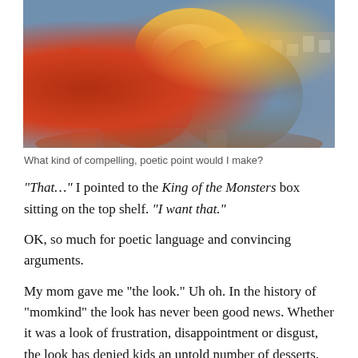[Figure (illustration): A colorful painted illustration showing giant monsters fighting in a city, with buildings in the background and fire/explosions. Appears to be a Godzilla-style monster movie box art.]
What kind of compelling, poetic point would I make?
“That…” I pointed to the King of the Monsters box sitting on the top shelf. “I want that.”
OK, so much for poetic language and convincing arguments.
My mom gave me “the look.” Uh oh. In the history of “momkind” the look has never been good news. Whether it was a look of frustration, disappointment or disgust, the look has denied kids an untold number of desserts, toys and video games.